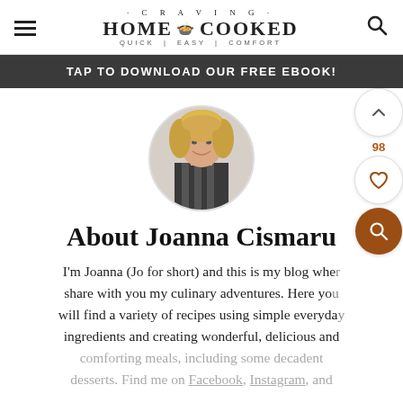CRAVING HOME COOKED — QUICK | EASY | COMFORT
TAP TO DOWNLOAD OUR FREE EBOOK!
[Figure (photo): Circular profile photo of Joanna Cismaru, a smiling woman with blonde hair]
About Joanna Cismaru
I'm Joanna (Jo for short) and this is my blog where I share with you my culinary adventures. Here you will find a variety of recipes using simple everyday ingredients and creating wonderful, delicious and comforting meals, including some decadent desserts. Find me on Facebook, Instagram, and